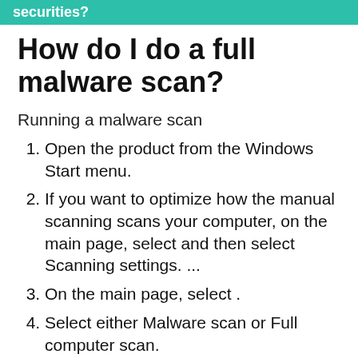securities?
How do I do a full malware scan?
Running a malware scan
Open the product from the Windows Start menu.
If you want to optimize how the manual scanning scans your computer, on the main page, select and then select Scanning settings. ...
On the main page, select .
Select either Malware scan or Full computer scan.
Is defender good enough?